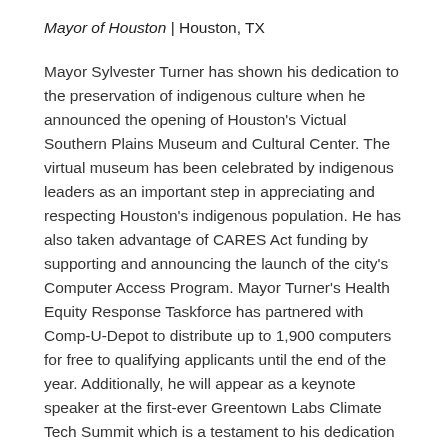Mayor of Houston | Houston, TX
Mayor Sylvester Turner has shown his dedication to the preservation of indigenous culture when he announced the opening of Houston's Victual Southern Plains Museum and Cultural Center. The virtual museum has been celebrated by indigenous leaders as an important step in appreciating and respecting Houston's indigenous population. He has also taken advantage of CARES Act funding by supporting and announcing the launch of the city's Computer Access Program. Mayor Turner's Health Equity Response Taskforce has partnered with Comp-U-Depot to distribute up to 1,900 computers for free to qualifying applicants until the end of the year. Additionally, he will appear as a keynote speaker at the first-ever Greentown Labs Climate Tech Summit which is a testament to his dedication to fighting climate change through creativity and ingenuity.